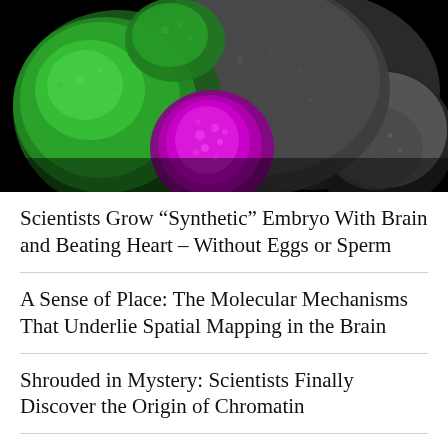[Figure (photo): Fluorescence microscopy image of a synthetic mouse embryo on black background, showing green-lit left lobe, magenta/pink central heart region, and grey right portion of the embryo structure.]
Scientists Grow “Synthetic” Embryo With Brain and Beating Heart – Without Eggs or Sperm
A Sense of Place: The Molecular Mechanisms That Underlie Spatial Mapping in the Brain
Shrouded in Mystery: Scientists Finally Discover the Origin of Chromatin